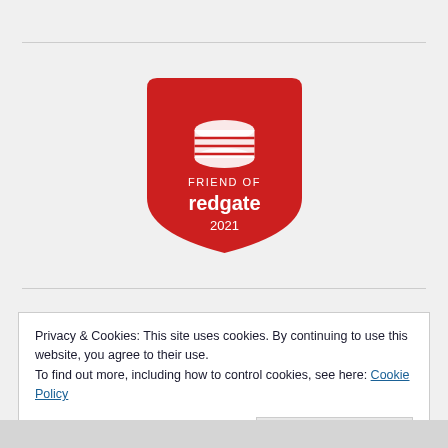[Figure (logo): Friend of Redgate 2021 badge — red shield shape with white database/horizontal-lines icon, text 'FRIEND OF redgate 2021']
Privacy & Cookies: This site uses cookies. By continuing to use this website, you agree to their use.
To find out more, including how to control cookies, see here: Cookie Policy
Close and accept